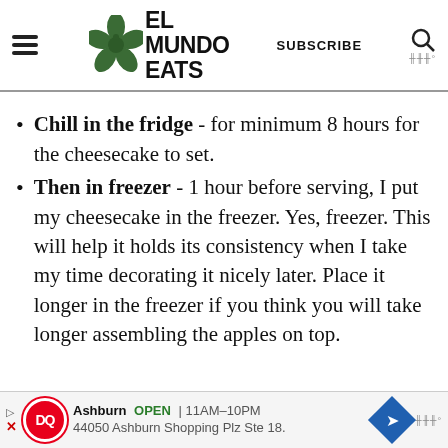EL MUNDO EATS
Chill in the fridge - for minimum 8 hours for the cheesecake to set.
Then in freezer - 1 hour before serving, I put my cheesecake in the freezer. Yes, freezer. This will help it holds its consistency when I take my time decorating it nicely later. Place it longer in the freezer if you think you will take longer assembling the apples on top.
[Figure (other): Dairy Queen advertisement banner: Ashburn OPEN 11AM-10PM, 44050 Ashburn Shopping Plz Ste 18.]